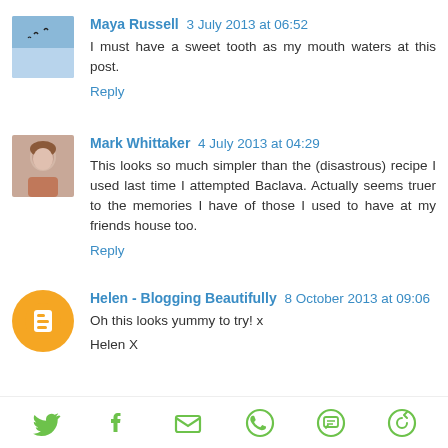Maya Russell  3 July 2013 at 06:52
I must have a sweet tooth as my mouth waters at this post.
Reply
Mark Whittaker  4 July 2013 at 04:29
This looks so much simpler than the (disastrous) recipe I used last time I attempted Baclava. Actually seems truer to the memories I have of those I used to have at my friends house too.
Reply
Helen - Blogging Beautifully  8 October 2013 at 09:06
Oh this looks yummy to try! x
Helen X
[Figure (infographic): Social media share bar with icons: Twitter (bird), Facebook (f), Email (envelope), WhatsApp (phone), SMS (speech bubble), and another share icon]